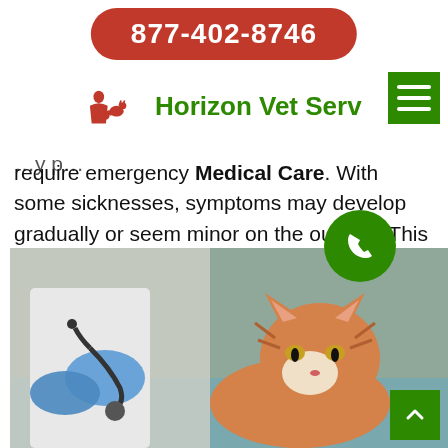877-402-8746
[Figure (logo): Horizon Vet Serv logo with red silhouette of veterinarian with animals and green text]
require emergency Medical Care. With some sicknesses, symptoms may develop gradually or seem minor on the outside. This may make it difficult to determine if emergency care is needed. If you are unsure if your pet may need Emergency Medical Care, you can always call us.
[Figure (photo): Veterinarian in white coat and blue gloves using stethoscope to examine an orange and white cat on a blue examination table]